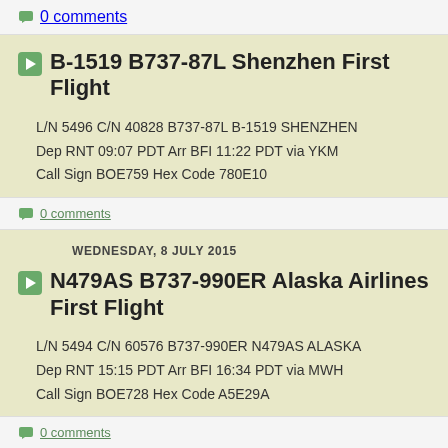0 comments
B-1519 B737-87L Shenzhen First Flight
L/N 5496 C/N 40828 B737-87L B-1519 SHENZHEN
Dep RNT 09:07 PDT Arr BFI 11:22 PDT via YKM
Call Sign BOE759 Hex Code 780E10
0 comments
WEDNESDAY, 8 JULY 2015
N479AS B737-990ER Alaska Airlines First Flight
L/N 5494 C/N 60576 B737-990ER N479AS ALASKA
Dep RNT 15:15 PDT Arr BFI 16:34 PDT via MWH
Call Sign BOE728 Hex Code A5E29A
0 comments
HL8006 B777-3B5ER Korean Air Flown back to Everett, WA after painting at Victorville, CA